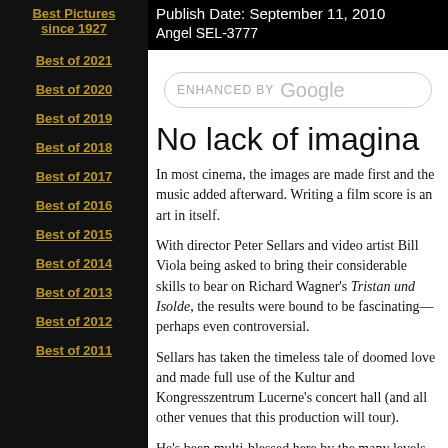Publish Date: September 11, 2010
Angel SEL-3777
Best Pictures since 1927
Best of 2021
Best of 2020
Best of 2019
Best of 2018
Best of 2017
Best of 2016
Best of 2015
Best of 2014
Best of 2013
Best of 2012
Best of 2011
No lack of imagina
In most cinema, the images are made first and the music added afterward. Writing a film score is an art in itself.
With director Peter Sellars and video artist Bill Viola being asked to bring their considerable skills to bear on Richard Wagner's Tristan und Isolde, the results were bound to be fascinating—perhaps even controversial.
Sellars has taken the timeless tale of doomed love and made full use of the Kultur and Kongresszentrum Lucerne's concert hall (and all other venues that this production will tour).
He's been multi-blessed here by the many levels of the room from the gently raked orchestra floor to the "Eiger Nord"-heaven of